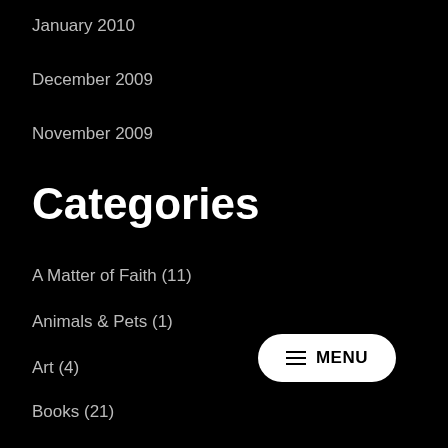January 2010
December 2009
November 2009
Categories
A Matter of Faith (11)
Animals & Pets (1)
Art (4)
Books (21)
Children's Books (5)